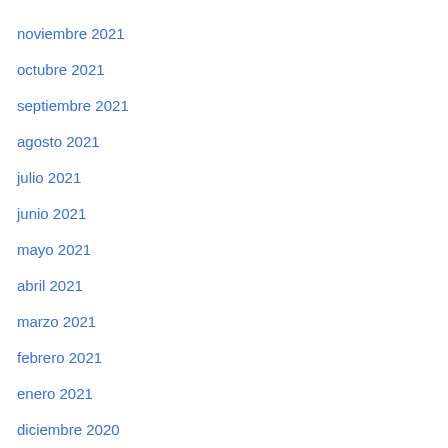noviembre 2021
octubre 2021
septiembre 2021
agosto 2021
julio 2021
junio 2021
mayo 2021
abril 2021
marzo 2021
febrero 2021
enero 2021
diciembre 2020
noviembre 2020